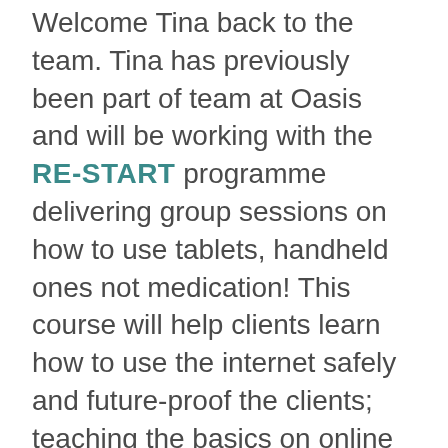Welcome Tina back to the team. Tina has previously been part of team at Oasis and will be working with the RE-START programme delivering group sessions on how to use tablets, handheld ones not medication! This course will help clients learn how to use the internet safely and future-proof the clients; teaching the basics on online banking, booking online doctors appointments and online shopping.

Our RE-BUILD team will also be